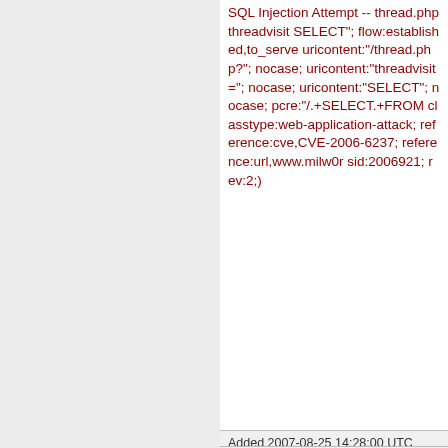SQL Injection Attempt -- thread.php threadvisit SELECT"; flow:established,to_server; uricontent:"/thread.php?"; nocase; uricontent:"threadvisit="; nocase; uricontent:"SELECT"; nocase; pcre:"/.+SELECT.+FROM classtype:web-application-attack; reference:cve,CVE-2006-6237; reference:url,www.milw0r sid:2006921; rev:2;)
Added 2007-08-25 14:28:00 UTC